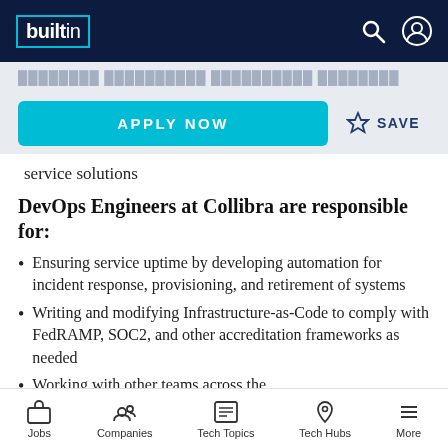builtin — navigation header with search and user icons
service solutions
DevOps Engineers at Collibra are responsible for:
Ensuring service uptime by developing automation for incident response, provisioning, and retirement of systems
Writing and modifying Infrastructure-as-Code to comply with FedRAMP, SOC2, and other accreditation frameworks as needed
Working with other teams across the organization including Security, Development...
Jobs | Companies | Tech Topics | Tech Hubs | More